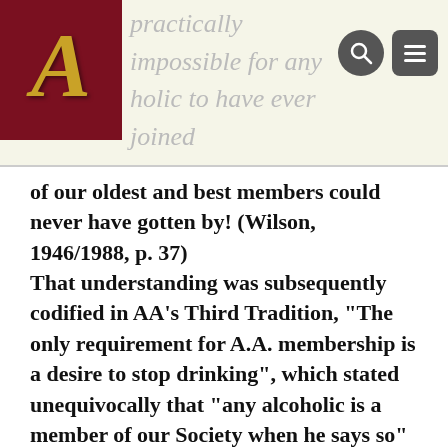practically impossible for any alcoholic to have ever joined Alcoholics Anonymous. About nine-tenths
of our oldest and best members could never have gotten by! (Wilson, 1946/1988, p. 37) That understanding was subsequently codified in AA’s Third Tradition, “The only requirement for A.A. membership is a desire to stop drinking”, which stated unequivocally that “any alcoholic is a member of our Society when he says so” (Alcoholics Anonymous, 1952/1981, p. 139, 145) Wilson further illustrated his respect for the varieties of recovery experience within AA by contrasting styles of change within AA—from his